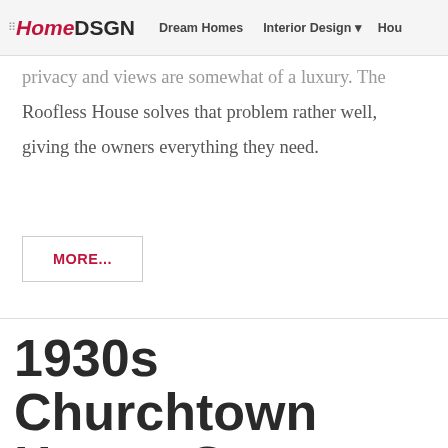HomeDSGN | Dream Homes | Interior Design | Hou...
privacy and views are somewhat of a luxury. The Roofless House solves that problem rather well, giving the owners everything they need.
MORE...
1930s Churchtown House Gets Extended with Perfect Kitchen and Dining...